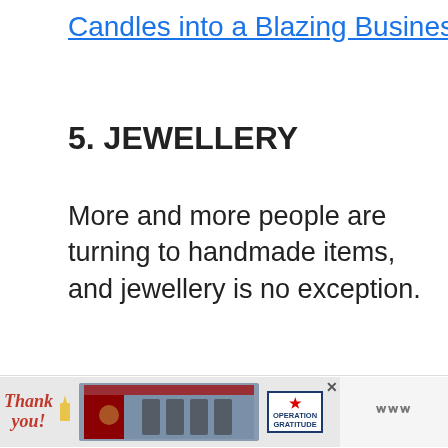Candles into a Blazing Business
5. JEWELLERY
More and more people are turning to handmade items, and jewellery is no exception.
With a rise in popularity, gemstone crafting wholesalers offer tools, beads, wires and even crystals at an extremely affordable price. It's never been easier to
[Figure (other): Advertisement banner: 'Thank you!' with Operation Gratitude logo and firefighters photo]